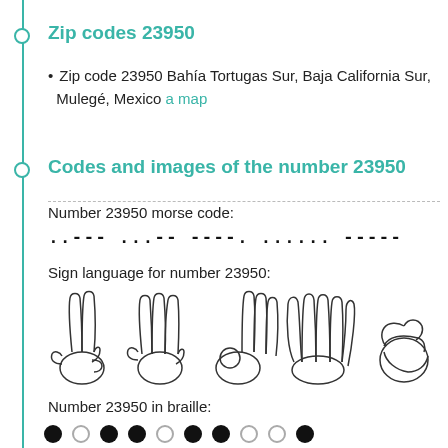Zip codes 23950
Zip code 23950 Bahía Tortugas Sur, Baja California Sur, Mulegé, Mexico a map
Codes and images of the number 23950
Number 23950 morse code:
..-— ...—- ——--. ...... ——---
Sign language for number 23950:
[Figure (illustration): Five hand sign illustrations representing digits 2, 3, 9, 5, 0 in sign language]
Number 23950 in braille:
[Figure (illustration): Braille dots representing number 23950: filled, empty, filled, filled, empty, filled, filled, empty, empty, filled]